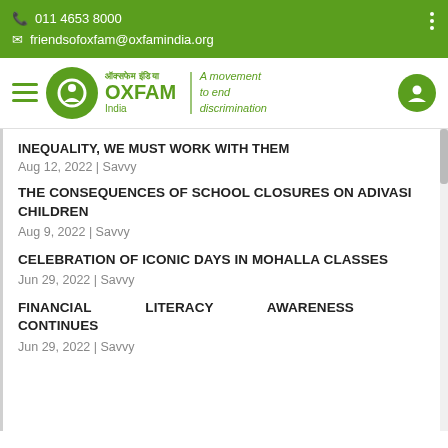☎ 011 4653 8000
✉ friendsofoxfam@oxfamindia.org
[Figure (logo): Oxfam India logo with hamburger menu and user icon navigation bar. Green circular Oxfam logo, text 'A movement to end discrimination', hamburger menu lines in green, user account icon in green circle.]
INEQUALITY, WE MUST WORK WITH THEM
Aug 12, 2022 | Savvy
THE CONSEQUENCES OF SCHOOL CLOSURES ON ADIVASI CHILDREN
Aug 9, 2022 | Savvy
CELEBRATION OF ICONIC DAYS IN MOHALLA CLASSES
Jun 29, 2022 | Savvy
FINANCIAL LITERACY AWARENESS CONTINUES
Jun 29, 2022 | Savvy